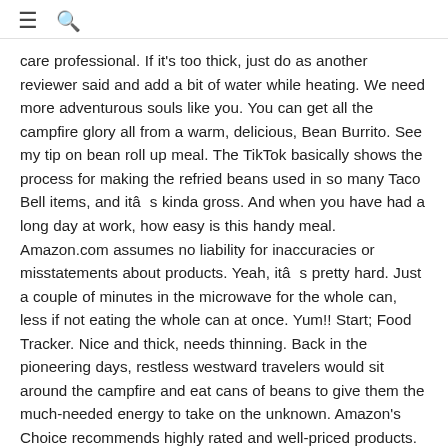≡ 🔍
care professional. If it's too thick, just do as another reviewer said and add a bit of water while heating. We need more adventurous souls like you. You can get all the campfire glory all from a warm, delicious, Bean Burrito. See my tip on bean roll up meal. The TikTok basically shows the process for making the refried beans used in so many Taco Bell items, and itâs kinda gross. And when you have had a long day at work, how easy is this handy meal. Amazon.com assumes no liability for inaccuracies or misstatements about products. Yeah, itâs pretty hard. Just a couple of minutes in the microwave for the whole can, less if not eating the whole can at once. Yum!! Start; Food Tracker. Nice and thick, needs thinning. Back in the pioneering days, restless westward travelers would sit around the campfire and eat cans of beans to give them the much-needed energy to take on the unknown. Amazon's Choice recommends highly rated and well-priced products. Taco Bell was founded by Glen Bell, who opened the first Taco Bell in 1962 in Downey, California, eight years after going into the fast food business..